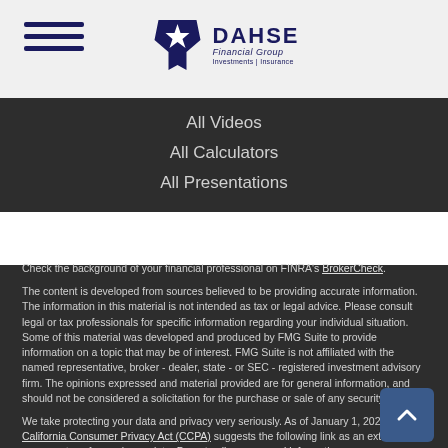[Figure (logo): Dahse Financial Group logo with Texas star icon and text 'DAHSE Financial Group Investments | Insurance']
All Videos
All Calculators
All Presentations
Check the background of your financial professional on FINRA's BrokerCheck.
The content is developed from sources believed to be providing accurate information. The information in this material is not intended as tax or legal advice. Please consult legal or tax professionals for specific information regarding your individual situation. Some of this material was developed and produced by FMG Suite to provide information on a topic that may be of interest. FMG Suite is not affiliated with the named representative, broker - dealer, state - or SEC - registered investment advisory firm. The opinions expressed and material provided are for general information, and should not be considered a solicitation for the purchase or sale of any security.
We take protecting your data and privacy very seriously. As of January 1, 2020 the California Consumer Privacy Act (CCPA) suggests the following link as an extra measure to safeguard your data: Do not sell my personal information.
Copyright 2022 FMG Suite.
Rob L. Dahse and Charlie Munsell are Registered Representative of and securities